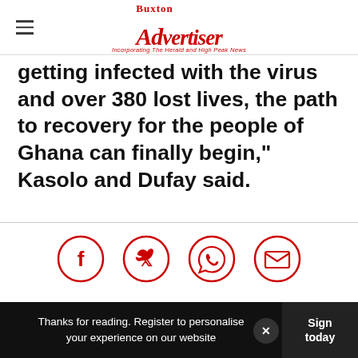Buxton Advertiser — Incorporating The Herald and High Peak News
getting infected with the virus and over 380 lost lives, the path to recovery for the people of Ghana can finally begin," Kasolo and Dufay said.
[Figure (infographic): Social sharing icons: Facebook, Twitter, WhatsApp, Email — red circle outlines]
More Stories
[Figure (photo): Gray gradient image placeholder for a story thumbnail]
Thanks for reading. Register to personalise your experience on our website